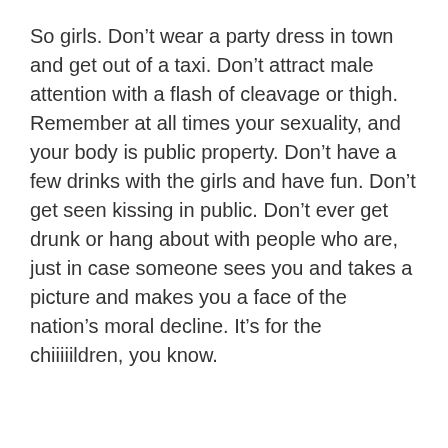So girls. Don't wear a party dress in town and get out of a taxi. Don't attract male attention with a flash of cleavage or thigh. Remember at all times your sexuality, and your body is public property. Don't have a few drinks with the girls and have fun. Don't get seen kissing in public. Don't ever get drunk or hang about with people who are, just in case someone sees you and takes a picture and makes you a face of the nation's moral decline. It's for the chiiiiildren, you know.